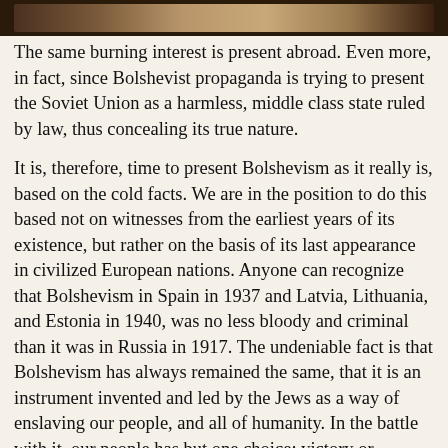[Figure (photo): Dark brown photo strip at the top of the page, appearing to be a cropped edge of a photograph]
The same burning interest is present abroad. Even more, in fact, since Bolshevist propaganda is trying to present the Soviet Union as a harmless, middle class state ruled by law, thus concealing its true nature.
It is, therefore, time to present Bolshevism as it really is, based on the cold facts. We are in the position to do this based not on witnesses from the earliest years of its existence, but rather on the basis of its last appearance in civilized European nations. Anyone can recognize that Bolshevism in Spain in 1937 and Latvia, Lithuania, and Estonia in 1940, was no less bloody and criminal than it was in Russia in 1917. The undeniable fact is that Bolshevism has always remained the same, that it is an instrument invented and led by the Jews as a way of enslaving our people, and all of humanity. In the battle with it, our people has but one choice: victory or Bolshevist chaos!
Life under the Soviet star!
Imagine that armed Soviet power had taken control of a European city. The thunder of the guns has quieted, the peace negotiations are over. What happens? The Bolshevist agents who want to establish their power need allies. Therefore, they open the doors of prisons and jails. The prison guards and police are murdered